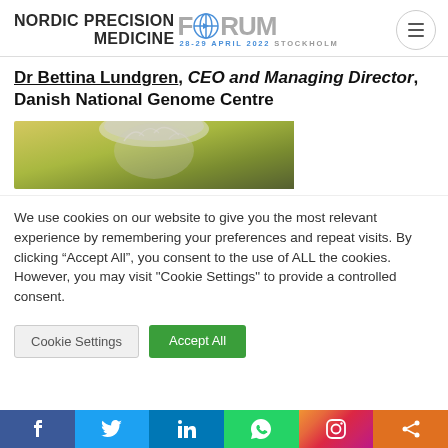[Figure (logo): Nordic Precision Medicine Forum logo with globe icon and date 28-29 April 2022 Stockholm]
Dr Bettina Lundgren, CEO and Managing Director, Danish National Genome Centre
[Figure (photo): Partial photo showing top of a person's head with grey/white hair against blurred green/yellow background]
We use cookies on our website to give you the most relevant experience by remembering your preferences and repeat visits. By clicking “Accept All”, you consent to the use of ALL the cookies. However, you may visit "Cookie Settings" to provide a controlled consent.
Cookie Settings | Accept All
[Figure (infographic): Social media share bar with Facebook, Twitter, LinkedIn, WhatsApp, Instagram, and Share icons]